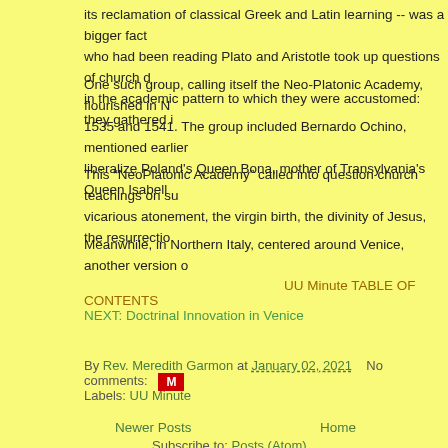its reclamation of classical Greek and Latin learning -- was a bigger fact... who had been reading Plato and Aristotle took up questions of church d... in the academic pattern to which they were accustomed: they gathered i...
One such group, calling itself the Neo-Platonic Academy, flourished in N... 1535 and 1541. The group included Bernardo Ochino, mentioned earlier... liberalize Poland's Queen Bona, mother of Transylvania's Queen Isabell...
This “NeoPlatonic Academy” called into question church teachings on su... vicarious atonement, the virgin birth, the divinity of Jesus, the resurrectio...
Meanwhile, in Northern Italy, centered around Venice, another version o...
UU Minute TABLE OF CONTENTS
NEXT: Doctrinal Innovation in Venice
By Rev. Meredith Garmon at January 02, 2021    No comments:
Labels: UU Minute
Newer Posts
Home
Subscribe to: Posts (Atom)